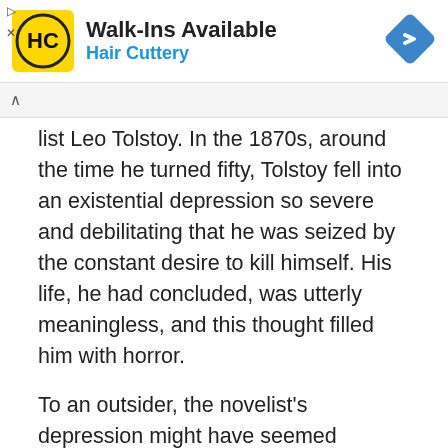[Figure (other): Hair Cuttery advertisement banner with logo, Walk-Ins Available text, and navigation icon]
list Leo Tolstoy. In the 1870s, around the time he turned fifty, Tolstoy fell into an existential depression so severe and debilitating that he was seized by the constant desire to kill himself. His life, he had concluded, was utterly meaningless, and this thought filled him with horror.
To an outsider, the novelist's depression might have seemed peculiar. Tolstoy, an aristocrat, had everything: he was wealthy; he was famous; he was married with several children; and his two masterpieces, War and Peace and Anna Karenina, had been published to great acclaim in 1869 and...